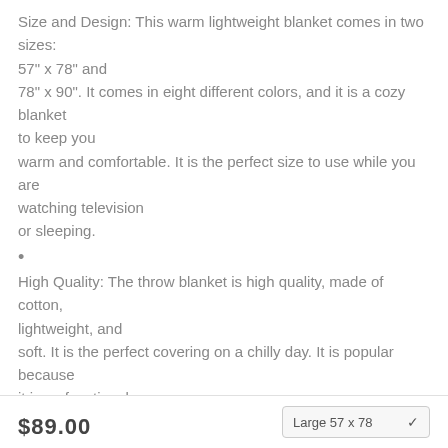Size and Design: This warm lightweight blanket comes in two sizes: 57" x 78" and 78" x 90". It comes in eight different colors, and it is a cozy blanket to keep you warm and comfortable. It is the perfect size to use while you are watching television or sleeping.
•
High Quality: The throw blanket is high quality, made of cotton, lightweight, and soft. It is the perfect covering on a chilly day. It is popular because it is so functional, and it becomes softer each time you wash it. You will get a lot of good use out of this throw blanket.
•
Many Uses: The throw blanket is versatile and can be used in many different ways.
$89.00
Large 57 x 78